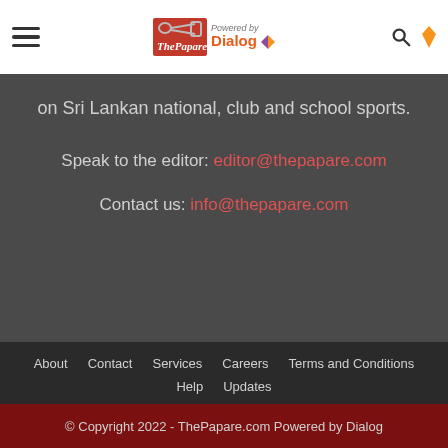ThePapare.com Powered by Dialog
on Sri Lankan national, club and school sports.
Speak to the editor: editor@thepapare.com
Contact us: info@thepapare.com
About  Contact  Services  Careers  Terms and Conditions  Help  Updates
© Copyright 2022 - ThePapare.com Powered by Dialog